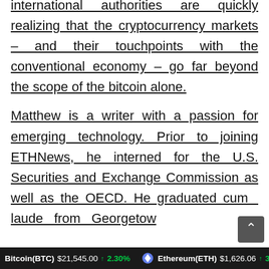international authorities are quickly realizing that the cryptocurrency markets – and their touchpoints with the conventional economy – go far beyond the scope of the bitcoin alone.
Matthew is a writer with a passion for emerging technology. Prior to joining ETHNews, he interned for the U.S. Securities and Exchange Commission as well as the OECD. He graduated cum laude from Georgetown
Bitcoin(BTC) $21,545.00 ↑ 2.30%   Ethereum(ETH) $1,626.06 ↑ 3.6